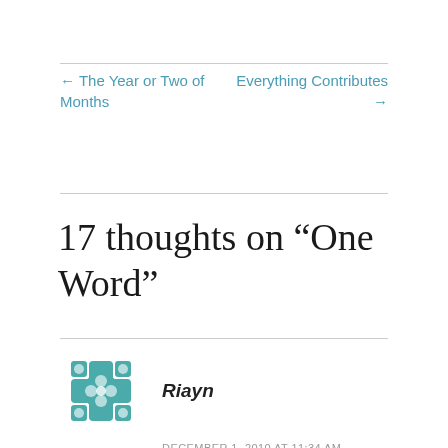← The Year or Two of Months
Everything Contributes →
17 thoughts on “One Word”
Riayn
DECEMBER 1, 2010 AT 11:34 AM